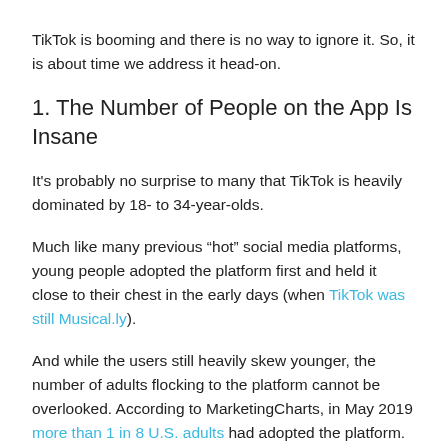TikTok is booming and there is no way to ignore it. So, it is about time we address it head-on.
1. The Number of People on the App Is Insane
It's probably no surprise to many that TikTok is heavily dominated by 18- to 34-year-olds.
Much like many previous “hot” social media platforms, young people adopted the platform first and held it close to their chest in the early days (when TikTok was still Musical.ly).
And while the users still heavily skew younger, the number of adults flocking to the platform cannot be overlooked. According to MarketingCharts, in May 2019 more than 1 in 8 U.S. adults had adopted the platform.
Today, the app has more than 1.5 billion users and you